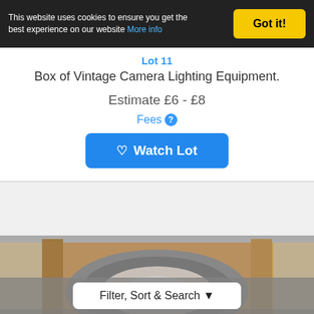This website uses cookies to ensure you get the best experience on our website More info
Got it!
Lot 11
Box of Vintage Camera Lighting Equipment.
Estimate £6 - £8
Fees ?
Watch Lot
[Figure (photo): Photo of a box containing a circular reel or disc of grey material, viewed from above, with cardboard box visible]
Filter, Sort & Search